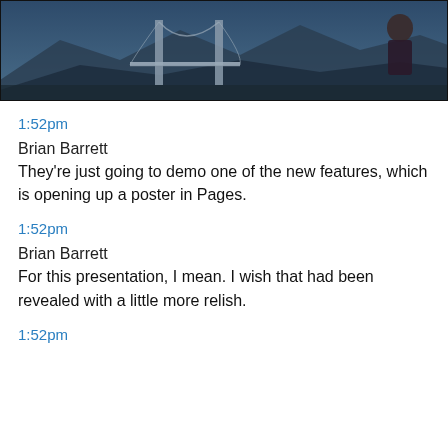[Figure (photo): Screenshot of a presentation stage with a large screen showing the Golden Gate Bridge and mountain silhouettes. A person in a dark suit is visible on the right side of the screen.]
1:52pm
Brian Barrett
They're just going to demo one of the new features, which is opening up a poster in Pages.
1:52pm
Brian Barrett
For this presentation, I mean. I wish that had been revealed with a little more relish.
1:52pm